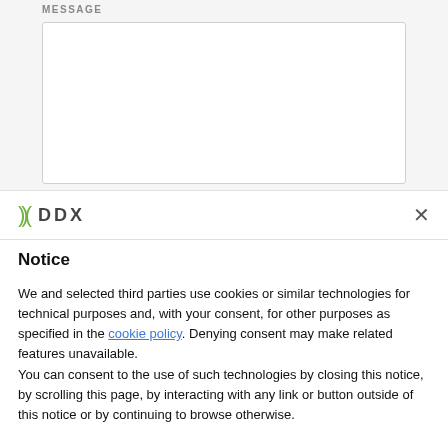MESSAGE
[Figure (screenshot): Empty white message input text area with rounded border]
[Figure (logo): DDX logo with green bracket symbols and bold DDX text, with an X close button on the right]
Notice
We and selected third parties use cookies or similar technologies for technical purposes and, with your consent, for other purposes as specified in the cookie policy. Denying consent may make related features unavailable.
You can consent to the use of such technologies by closing this notice, by scrolling this page, by interacting with any link or button outside of this notice or by continuing to browse otherwise.